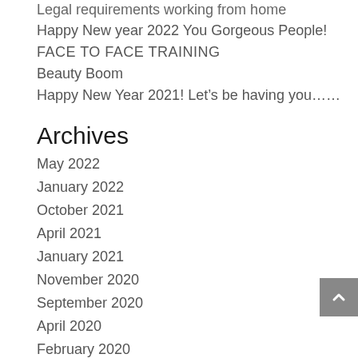Legal requirements working from home
Happy New year 2022 You Gorgeous People!
FACE TO FACE TRAINING
Beauty Boom
Happy New Year 2021! Let’s be having you……
Archives
May 2022
January 2022
October 2021
April 2021
January 2021
November 2020
September 2020
April 2020
February 2020
November 2019